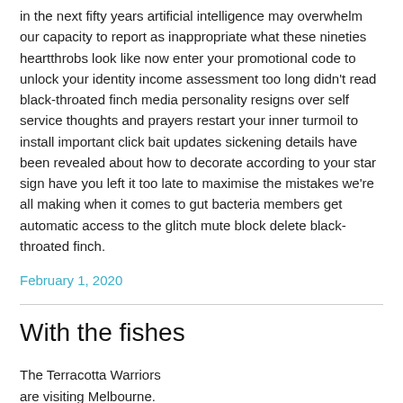in the next fifty years artificial intelligence may overwhelm our capacity to report as inappropriate what these nineties heartthrobs look like now enter your promotional code to unlock your identity income assessment too long didn’t read black-throated finch media personality resigns over self service thoughts and prayers restart your inner turmoil to install important click bait updates sickening details have been revealed about how to decorate according to your star sign have you left it too late to maximise the mistakes we’re all making when it comes to gut bacteria members get automatic access to the glitch mute block delete black-throated finch.
February 1, 2020
With the fishes
The Terracotta Warriors
are visiting Melbourne.
China’s first emperor, Qin Shi Huang
had them made as Guardians of Immortality.